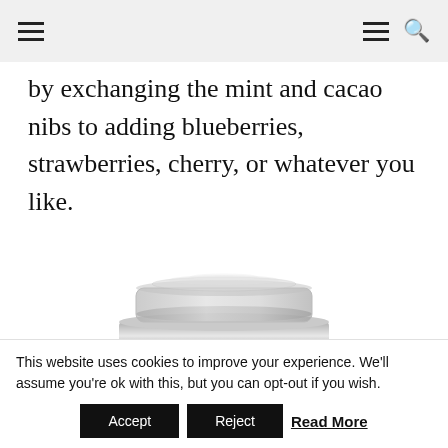Navigation bar with hamburger menu icons and search icon
by exchanging the mint and cacao nibs to adding blueberries, strawberries, cherry, or whatever you like.
[Figure (photo): Top portion of a silver stainless steel blender or food processor jar with a clear lid and digital control panel showing buttons and '25' display]
This website uses cookies to improve your experience. We'll assume you're ok with this, but you can opt-out if you wish.
Accept  Reject  Read More